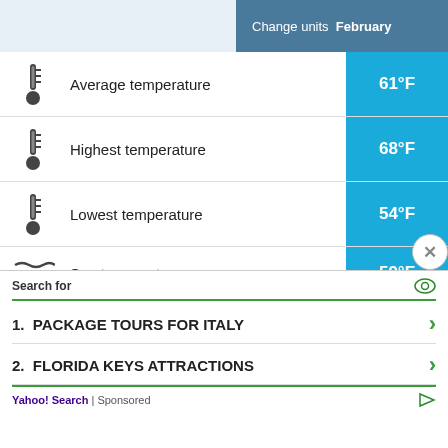Change units February
|  | Metric | Value |
| --- | --- | --- |
| thermometer | Average temperature | 61°F |
| thermometer | Highest temperature | 68°F |
| thermometer | Lowest temperature | 54°F |
| waves | Sea temperature | 59°F |
| rain | Rainfall | 2.9in |
| calendar | Number of days with rainfall | 3 day(s) (9%) |
Search for
1. PACKAGE TOURS FOR ITALY
2. FLORIDA KEYS ATTRACTIONS
Yahoo! Search | Sponsored